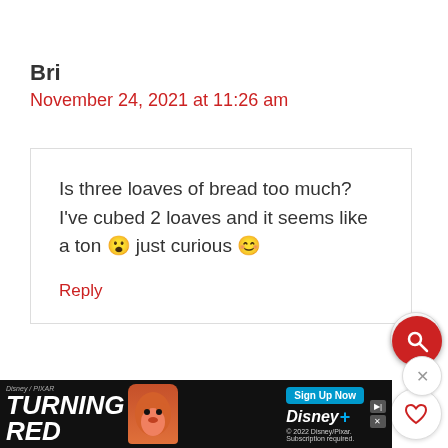Bri
November 24, 2021 at 11:26 am
Is three loaves of bread too much? I've cubed 2 loaves and it seems like a ton 😮 just curious 😊
Reply
295
Christina Hitchcock
[Figure (screenshot): Disney/Pixar Turning Red advertisement banner with character image and Disney+ sign up button]